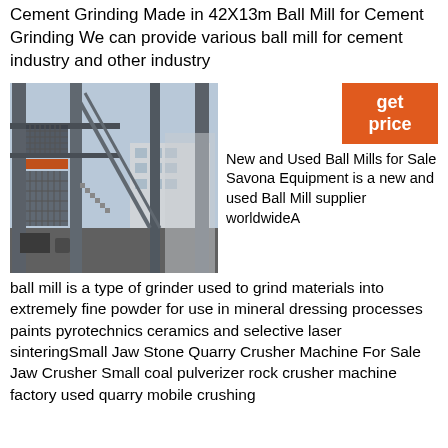Cement Grinding Made in 42X13m Ball Mill for Cement Grinding We can provide various ball mill for cement industry and other industry
[Figure (photo): Industrial ball mill or crushing equipment structure photographed from inside, showing metal framework, stairs, and industrial building exterior in background]
get price
New and Used Ball Mills for Sale Savona Equipment is a new and used Ball Mill supplier worldwideA ball mill is a type of grinder used to grind materials into extremely fine powder for use in mineral dressing processes paints pyrotechnics ceramics and selective laser sinteringSmall Jaw Stone Quarry Crusher Machine For Sale Jaw Crusher Small coal pulverizer rock crusher machine factory used quarry mobile crushing